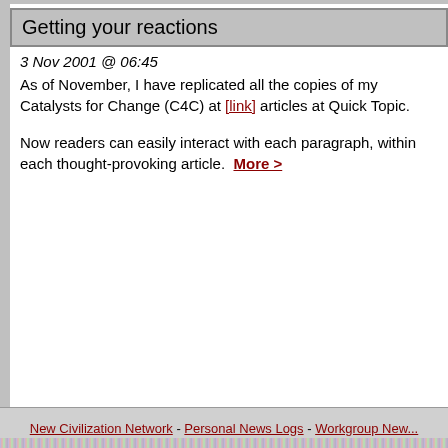Getting your reactions
3 Nov 2001 @ 06:45
As of November, I have replicated all the copies of my Catalysts for Change (C4C) at [link] articles at Quick Topic.
Now readers can easily interact with each paragraph, within each thought-provoking article.  More >
New Civilization Network - Personal News Logs - Workgroup New...